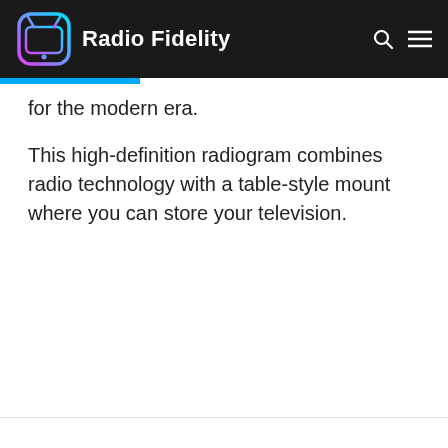Radio Fidelity
for the modern era.
This high-definition radiogram combines radio technology with a table-style mount where you can store your television.